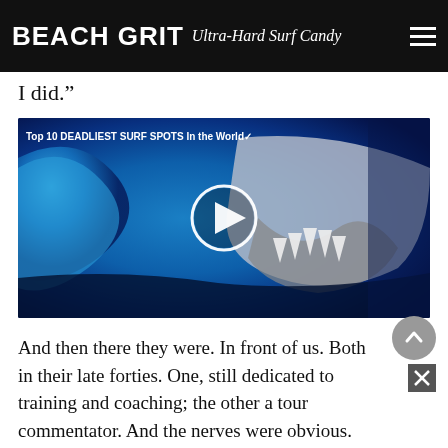BEACH GRIT Ultra-Hard Surf Candy
I did.”
[Figure (screenshot): Video thumbnail showing a shark with open jaws and a large wave in blue tones, with a play button circle in the center. Title overlay reads: Top 10 DEADLIEST SURF SPOTS In the World✓]
And then there they were. In front of us. Both in their late forties. One, still dedicated to training and coaching; the other a tour commentator. And the nerves were obvious.